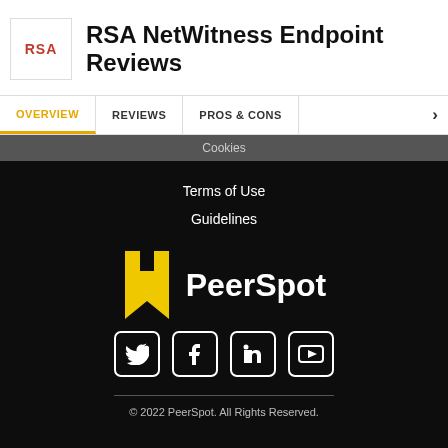RSA NetWitness Endpoint Reviews
OVERVIEW   REVIEWS   PROS & CONS   >
Cookies
Terms of Use
Guidelines
[Figure (logo): PeerSpot logo with yellow bookmark icon and white wordmark on dark background, with social media icons (Twitter, Facebook, LinkedIn, YouTube)]
© 2022 PeerSpot. All Rights Reserved.